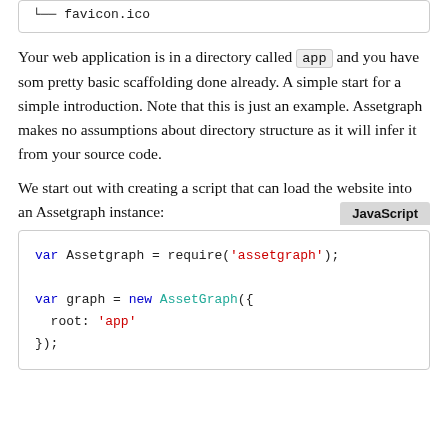└── favicon.ico
Your web application is in a directory called app and you have som pretty basic scaffolding done already. A simple start for a simple introduction. Note that this is just an example. Assetgraph makes no assumptions about directory structure as it will infer it from your source code.
We start out with creating a script that can load the website into an Assetgraph instance:
JavaScript
var Assetgraph = require('assetgraph');

var graph = new AssetGraph({
  root: 'app'
});